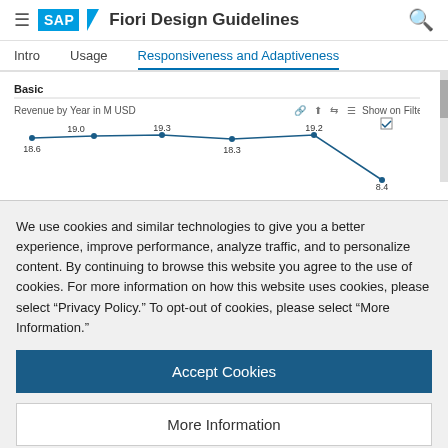SAP Fiori Design Guidelines
Intro   Usage   Responsiveness and Adaptiveness
[Figure (line-chart): Line chart showing Revenue by Year in M USD with data points: 18.6, 19.0, 19.3, 18.3, 19.2, 8.4]
We use cookies and similar technologies to give you a better experience, improve performance, analyze traffic, and to personalize content. By continuing to browse this website you agree to the use of cookies. For more information on how this website uses cookies, please select “Privacy Policy.” To opt-out of cookies, please select “More Information.”
Accept Cookies
More Information
Privacy Policy | Powered by: TrustArc